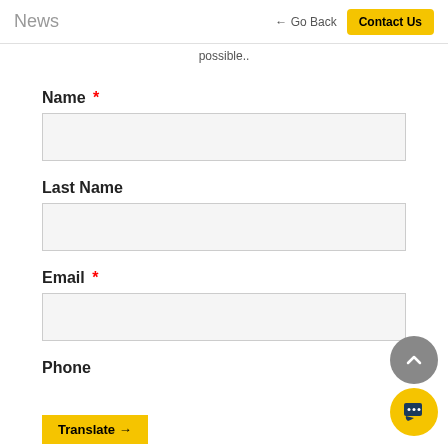News  ← Go Back  Contact Us
possible..
Name *
Last Name
Email *
Phone
Translate →